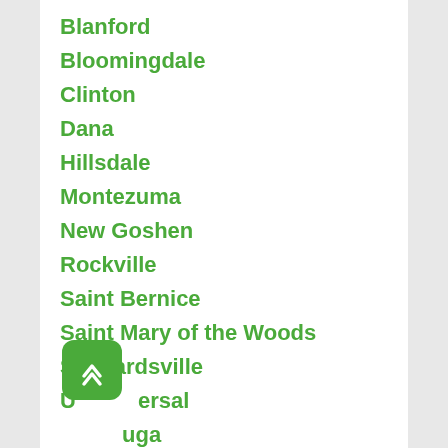Blanford
Bloomingdale
Clinton
Dana
Hillsdale
Montezuma
New Goshen
Rockville
Saint Bernice
Saint Mary of the Woods
Shepardsville
Universal
Cayuga
Newport